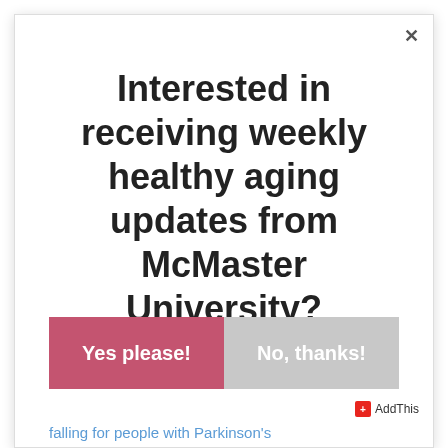Interested in receiving weekly healthy aging updates from McMaster University?
Yes please!
No, thanks!
falling for people with Parkinson's